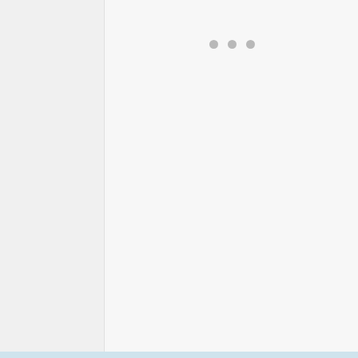[Figure (other): Image carousel placeholder area with three navigation dots at top, light gray background]
| Vent Openers | Price | Our Rating |
| --- | --- | --- |
| The Univent Automatic Vent Opener | $$ | 4.5 |
| The [continues below] | $$ | 4.7 |